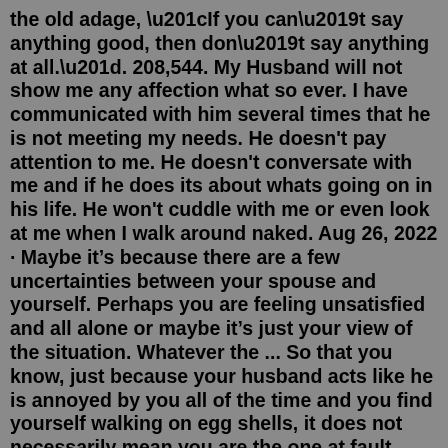the old adage, “If you can’t say anything good, then don’t say anything at all.”. 208,544. My Husband will not show me any affection what so ever. I have communicated with him several times that he is not meeting my needs. He doesn't pay attention to me. He doesn't conversate with me and if he does its about whats going on in his life. He won't cuddle with me or even look at me when I walk around naked. Aug 26, 2022 · Maybe it’s because there are a few uncertainties between your spouse and yourself. Perhaps you are feeling unsatisfied and all alone or maybe it’s just your view of the situation. Whatever the ... So that you know, just because your husband acts like he is annoyed by you all of the time and you find yourself walking on egg shells, it does not necessarily mean you are the one at fault. Often you are not. It is he that is misbehaving. It may be your husband has blown a gasket and is leaking all kinds of pent-up emotions. It's difficult when you are wondering why your husband ignores you, especially